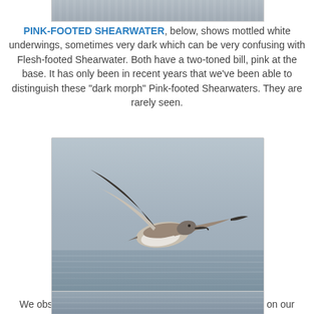[Figure (photo): Partial top photo of ocean/water scene, cropped at top of page]
PINK-FOOTED SHEARWATER, below, shows mottled white underwings, sometimes very dark which can be very confusing with Flesh-footed Shearwater. Both have a two-toned bill, pink at the base. It has only been in recent years that we've been able to distinguish these "dark morph" Pink-footed Shearwaters. They are rarely seen.
[Figure (photo): Pink-footed Shearwater in flight over ocean water, showing underwing and body profile]
We observed TUFTED PUFFIN on the way offshore and on our return to the harbor, although I usually do not run over my same tracks (on land or sea).
[Figure (photo): Partial bottom photo of ocean/sea surface, partially cropped at bottom of page]